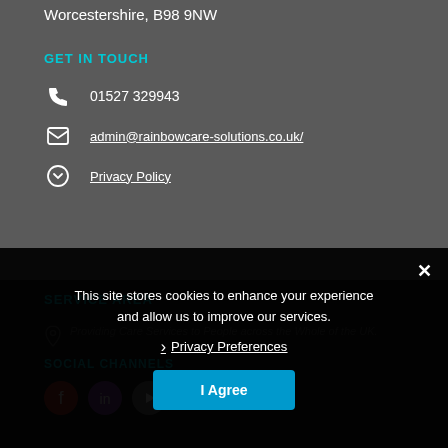Worcestershire, B98 9NW
GET IN TOUCH
01527 329943
admin@rainbowcare-solutions.co.uk/
Privacy Policy
SERVICE AREA
Providing Care Services to People across the Whole of the UK.
SOCIAL CHANNELS
This site stores cookies to enhance your experience and allow us to improve our services.
Privacy Preferences
I Agree